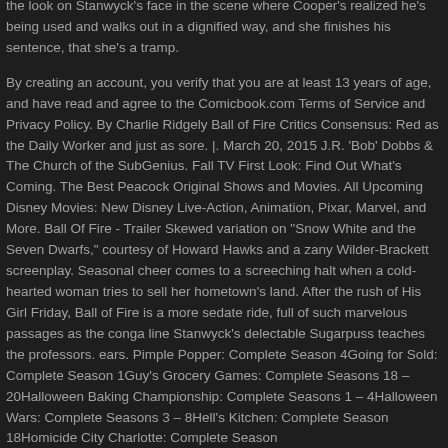the look on Stanwyck's face in the scene where Cooper's realized he's being used and walks out in a dignified way, and she finishes his sentence, that she's a tramp.
By creating an account, you verify that you are at least 13 years of age, and have read and agree to the Comicbook.com Terms of Service and Privacy Policy. By Charlie Ridgely Ball of Fire Critics Consensus: Red as the Daily Worker and just as sore. |. March 20, 2015 J.R. 'Bob' Dobbs & The Church of the SubGenius. Fall TV First Look: Find Out What's Coming. The Best Peacock Original Shows and Movies. All Upcoming Disney Movies: New Disney Live-Action, Animation, Pixar, Marvel, and More. Ball Of Fire - Trailer Skewed variation on "Snow White and the Seven Dwarfs," courtesy of Howard Hawks and a zany Wilder-Brackett screenplay. Seasonal cheer comes to a screeching halt when a cold-hearted woman tries to sell her hometown's land. After the rush of His Girl Friday, Ball of Fire is a more sedate ride, full of such marvelous passages as the conga line Stanwyck's delectable Sugarpuss teaches the professors. ears. Pimple Popper: Complete Season 4Going for Sold: Complete Season 1Guy's Grocery Games: Complete Seasons 18 – 20Halloween Baking Championship: Complete Seasons 1 – 4Halloween Wars: Complete Seasons 3 – 8Hell's Kitchen: Complete Season 18Homicide City Charlotte: Complete Season